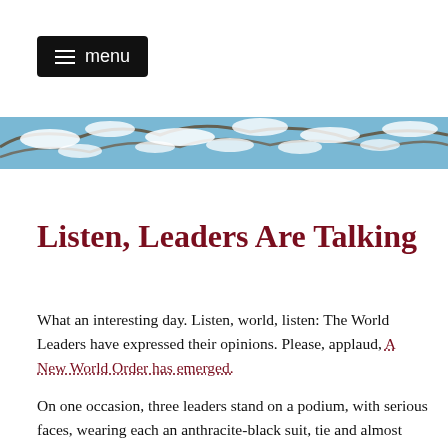menu
[Figure (photo): Banner image showing snow-covered tree branches against a blue sky]
Listen, Leaders Are Talking
What an interesting day. Listen, world, listen: The World Leaders have expressed their opinions. Please, applaud, A New World Order has emerged.
On one occasion, three leaders stand on a podium, with serious faces, wearing each an anthracite-black suit, tie and almost certainly well polished black